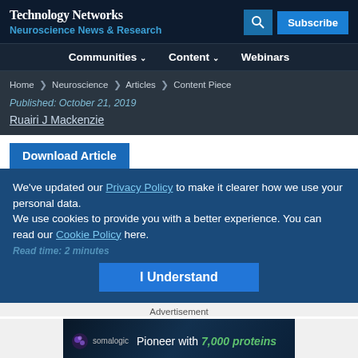Technology Networks — Neuroscience News & Research
Communities   Content   Webinars
Home > Neuroscience > Articles > Content Piece
Published: October 21, 2019
Ruairi J Mackenzie
Download Article
We've updated our Privacy Policy to make it clearer how we use your personal data.
We use cookies to provide you with a better experience. You can read our Cookie Policy here.
Read time: 2 minutes
I Understand
Advertisement
[Figure (other): Somalogic advertisement banner: 'Pioneer with 7,000 proteins']